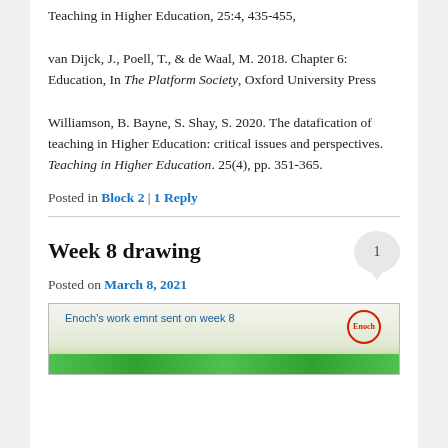Teaching in Higher Education, 25:4, 435-455,
van Dijck, J., Poell, T., & de Waal, M. 2018. Chapter 6: Education, In The Platform Society, Oxford University Press
Williamson, B. Bayne, S. Shay, S. 2020. The datafication of teaching in Higher Education: critical issues and perspectives. Teaching in Higher Education. 25(4), pp. 351-365.
Posted in Block 2 | 1 Reply
Week 8 drawing
Posted on March 8, 2021
[Figure (photo): A handwritten note reading "Enoch's work emnt sent on week 8" with a red circular stamp reading Enoch, and green pattern at the bottom.]